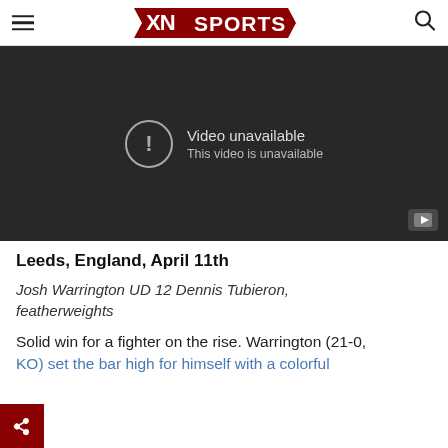XN SPORTS
[Figure (screenshot): Embedded video player showing 'Video unavailable / This video is unavailable' message on dark background with YouTube play button icon]
Leeds, England, April 11th
Josh Warrington UD 12 Dennis Tubieron, featherweights
Solid win for a fighter on the rise. Warrington (21-0, KO) set the bar high for himself with a colorful